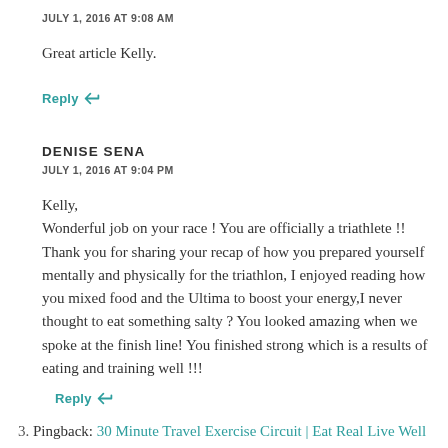JULY 1, 2016 AT 9:08 AM
Great article Kelly.
Reply ↩
DENISE SENA
JULY 1, 2016 AT 9:04 PM
Kelly,
Wonderful job on your race ! You are officially a triathlete !! Thank you for sharing your recap of how you prepared yourself mentally and physically for the triathlon, I enjoyed reading how you mixed food and the Ultima to boost your energy,I never thought to eat something salty ? You looked amazing when we spoke at the finish line! You finished strong which is a results of eating and training well !!!
Reply ↩
3. Pingback: 30 Minute Travel Exercise Circuit | Eat Real Live Well